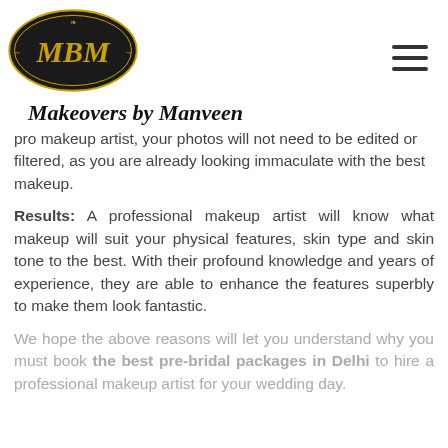[Figure (logo): MBM Makeovers by Manveen logo — black oval with gold decorative border and gold 'MBM' text inside]
Makeovers by Manveen
pro makeup artist, your photos will not need to be edited or filtered, as you are already looking immaculate with the best makeup.
Results: A professional makeup artist will know what makeup will suit your physical features, skin type and skin tone to the best. With their profound knowledge and years of experience, they are able to enhance the features superbly to make them look fantastic.
We hope the above reasons will let you understand why you must book the best pre-bridal packages in Delhi to hire a professional makeup artist for your wedding day.